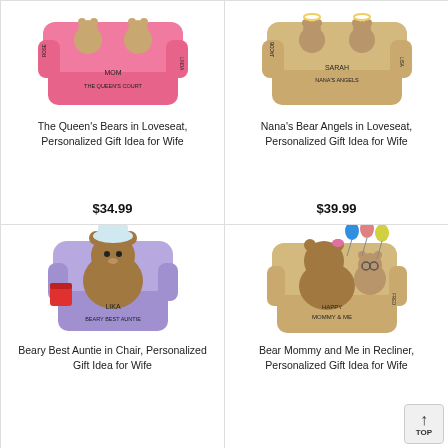[Figure (photo): Pink loveseat figurine with bears, text 'MOM THE QUEEN'S COURT']
The Queen's Bears in Loveseat, Personalized Gift Idea for Wife
$34.99
[Figure (photo): Tan loveseat figurine with bear angels, text 'SARAH NANA'S ANGELS']
Nana's Bear Angels in Loveseat, Personalized Gift Idea for Wife
$39.99
[Figure (photo): Purple chair figurine with bear, text 'LIKA BEARY BEST AUNTIE']
Beary Best Auntie in Chair, Personalized Gift Idea for Wife
[Figure (photo): Tan recliner figurine with mommy bear and baby bear with balloons, text 'HAPPY MOMMY & ME']
Bear Mommy and Me in Recliner, Personalized Gift Idea for Wife